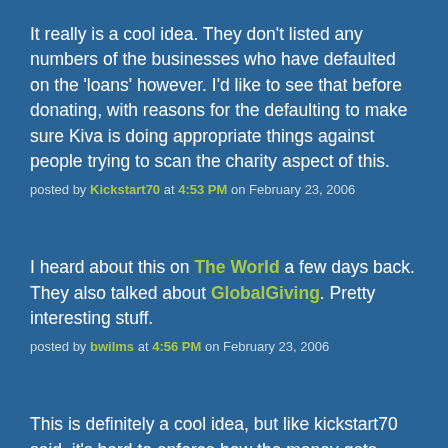It really is a cool idea. They don't listed any numbers of the businesses who have defaulted on the 'loans' however. I'd like to see that before donating, with reasons for the defaulting to make sure Kiva is doing appropriate things against people trying to scan the charity aspect of this.
posted by Kickstart70 at 4:53 PM on February 23, 2006
I heard about this on The World a few days back. They also talked about GlobalGiving. Pretty interesting stuff.
posted by bwilms at 4:56 PM on February 23, 2006
This is definitely a cool idea, but like kickstart70 said, it's hard to enforce how the money gets used and whether it gets paid back. Microcredit orgs have people on the ground to check on that kind of stuff, at least.
posted by TunnelArmr at 4:59 PM on February 23, 2006